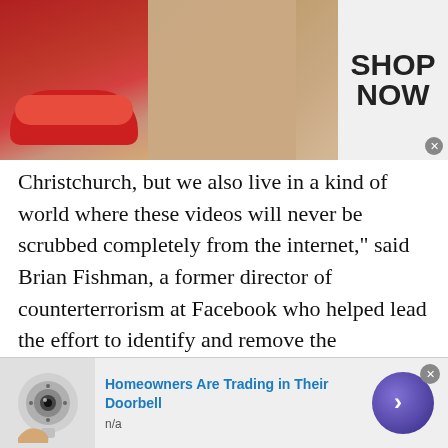[Figure (photo): Ulta Beauty advertisement banner with makeup imagery — red lips, makeup brush, eyes, Ulta logo, and SHOP NOW text]
Christchurch, but we also live in a kind of world where these videos will never be scrubbed completely from the internet," said Brian Fishman, a former director of counterterrorism at Facebook who helped lead the effort to identify and remove the Christchurch videos from the site in 2019.
To outwit some of the large platforms, which generally rely on artificial intelligence to take down toxic content, people have added watermarks or filters to alter the clips of the Christchurch attack or changed playback speeds of the recording. The
[Figure (photo): Advertisement for doorbell camera: security camera image on left, text 'Homeowners Are Trading in Their Doorbell' in blue, 'n/a' below, purple arrow button on right]